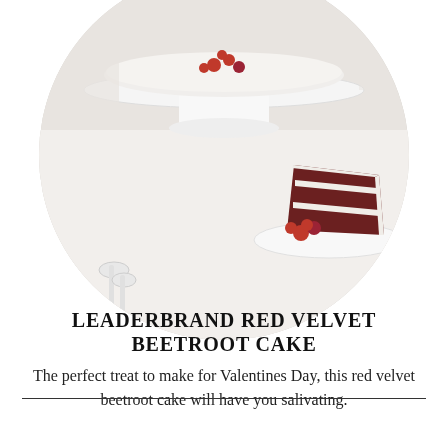[Figure (photo): Circular cropped photo of a red velvet beetroot cake on a white cake stand, with a slice cut showing red cake layers with white cream filling, garnished with fresh raspberries, on a white background.]
LEADERBRAND RED VELVET BEETROOT CAKE
The perfect treat to make for Valentines Day, this red velvet beetroot cake will have you salivating.